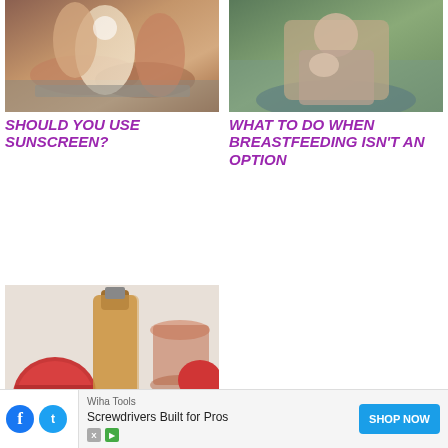[Figure (photo): Close-up of someone applying sunscreen on legs, sitting on a blanket]
[Figure (photo): Woman breastfeeding a baby outdoors near water]
SHOULD YOU USE SUNSCREEN?
WHAT TO DO WHEN BREASTFEEDING ISN'T AN OPTION
[Figure (photo): Kombucha bottle and pomegranate drinks on a table]
KOMBUCHA